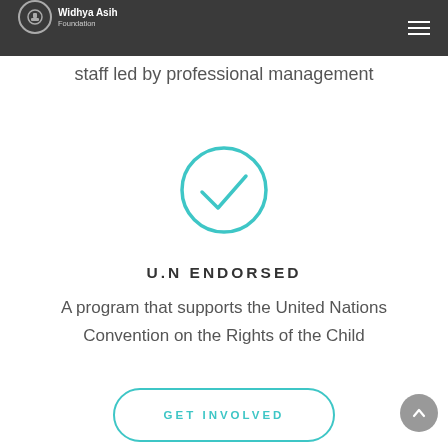Widhya Asih Foundation
staff led by professional management
[Figure (illustration): Teal circular checkmark icon]
U.N ENDORSED
A program that supports the United Nations Convention on the Rights of the Child
GET INVOLVED